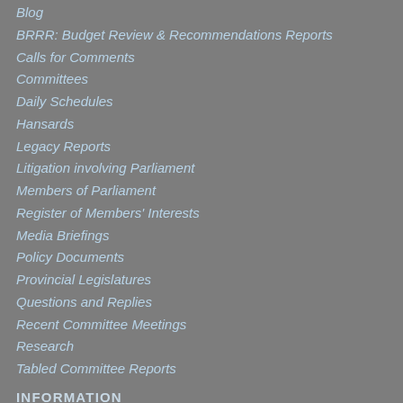Blog
BRRR: Budget Review & Recommendations Reports
Calls for Comments
Committees
Daily Schedules
Hansards
Legacy Reports
Litigation involving Parliament
Members of Parliament
Register of Members' Interests
Media Briefings
Policy Documents
Provincial Legislatures
Questions and Replies
Recent Committee Meetings
Research
Tabled Committee Reports
INFORMATION
Rules of Parliament
Code of Conduct / MP Disclosure of Interests
Political Party Representation
Legislative Process & Government